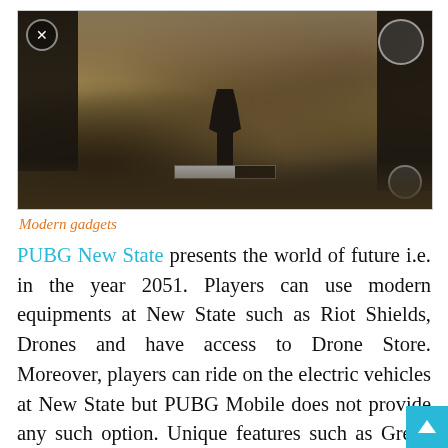[Figure (screenshot): Screenshot from PUBG New State video game showing a player character crouching in a desert/arid environment, viewed from behind, with large dark pillars/structures on either side. Game UI elements visible including icons and a health/progress bar.]
Modern gadgets
PUBG New State presents the world of future i.e. in the year 2051. Players can use modern equipments at New State such as Riot Shields, Drones and have access to Drone Store. Moreover, players can ride on the electric vehicles at New State but PUBG Mobile does not provide any such option. Unique features such as Green Flare and Recruit enemy option also sets apart PUBG New State from other games